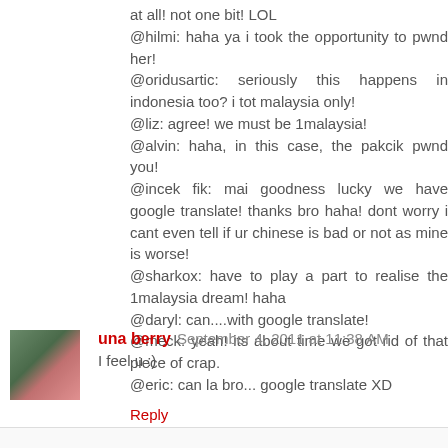at all! not one bit! LOL
@hilmi: haha ya i took the opportunity to pwnd her!
@oridusartic: seriously this happens in indonesia too? i tot malaysia only!
@liz: agree! we must be 1malaysia!
@alvin: haha, in this case, the pakcik pwnd you!
@incek fik: mai goodness lucky we have google translate! thanks bro haha! dont worry i cant even tell if ur chinese is bad or not as mine is worse!
@sharkox: have to play a part to realise the 1malaysia dream! haha
@daryl: can....with google translate!
@meck: yeah! its about time we got rid of that piece of crap.
@eric: can la bro... google translate XD
Reply
una berry  September 4, 2011 at 11:38 AM
I feel u :)